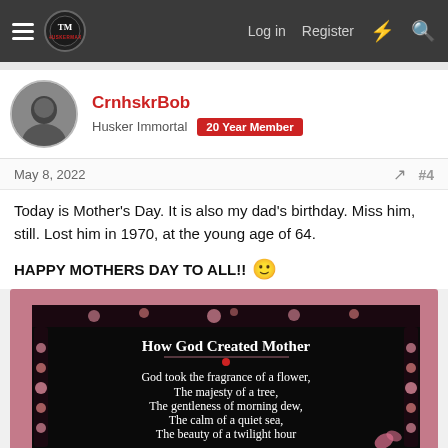HuskerMax navigation — Log in, Register
CrnhskrBob
Husker Immortal | 20 Year Member
May 8, 2022  #4
Today is Mother's Day. It is also my dad's birthday. Miss him, still. Lost him in 1970, at the young age of 64.
HAPPY MOTHERS DAY TO ALL!! 🙂
[Figure (illustration): Decorative greeting card image with pink border and black background showing the poem 'How God Created Mother': God took the fragrance of a flower, The majesty of a tree, The gentleness of morning dew, The calm of a quiet sea, The beauty of a twilight hour]